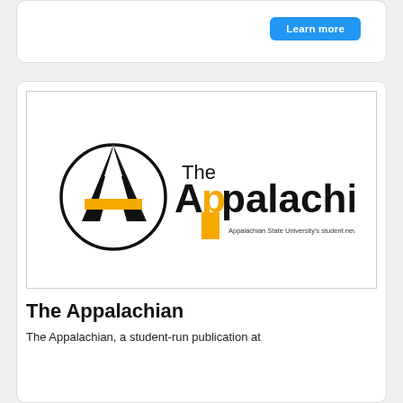[Figure (other): Top card with Learn more button]
[Figure (logo): The Appalachian logo — Appalachian State University's student news source since 1934]
The Appalachian
The Appalachian, a student-run publication at